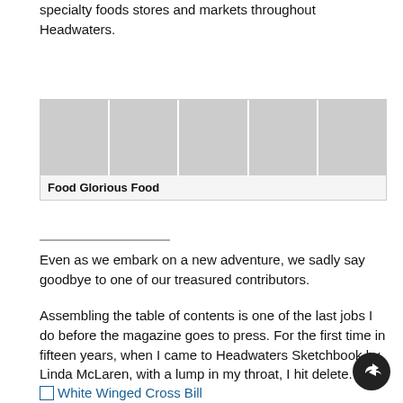specialty foods stores and markets throughout Headwaters.
[Figure (photo): A horizontal strip of five food-related photos: leafy greens in a bowl, a person holding a produce box outdoors, a kitchen interior with pendant lights, a person in a red shirt holding a tray, and a plate with a yellow crêpe and asparagus.]
Food Glorious Food
Even as we embark on a new adventure, we sadly say goodbye to one of our treasured contributors.
Assembling the table of contents is one of the last jobs I do before the magazine goes to press. For the first time in fifteen years, when I came to Headwaters Sketchbook by Linda McLaren, with a lump in my throat, I hit delete.
[Figure (photo): Image link placeholder labeled 'White Winged Cross Bill']